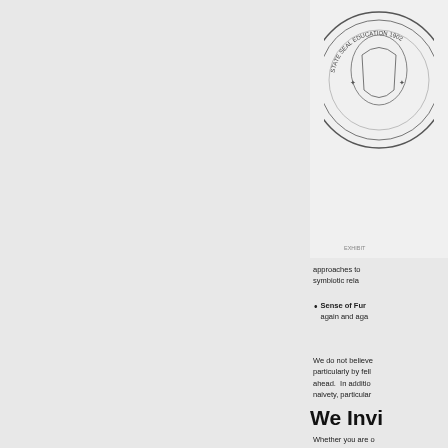[Figure (illustration): Circular official seal/emblem, black and white, partially visible at top right of page]
approaches to symbiotic rela
Sense of Fur again and aga
We do not believe particularly by fell ahead. In additio naivety, particular
We Invi
Whether you are to help yo on HS
[Figure (illustration): Chat bubble icon with person silhouette, green and black colors]
Get Ou